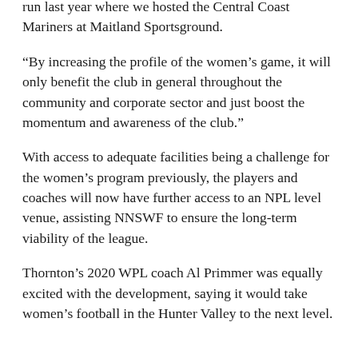run last year where we hosted the Central Coast Mariners at Maitland Sportsground.
“By increasing the profile of the women’s game, it will only benefit the club in general throughout the community and corporate sector and just boost the momentum and awareness of the club.”
With access to adequate facilities being a challenge for the women’s program previously, the players and coaches will now have further access to an NPL level venue, assisting NNSWF to ensure the long-term viability of the league.
Thornton’s 2020 WPL coach Al Primmer was equally excited with the development, saying it would take women’s football in the Hunter Valley to the next level.